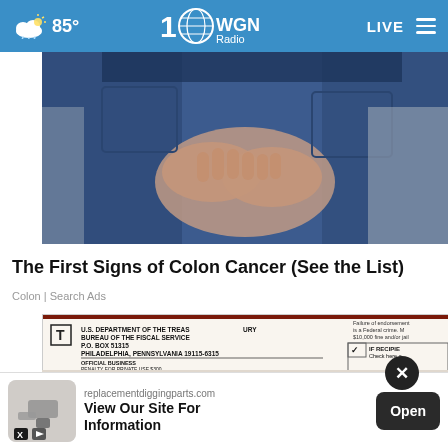85° | WGN Radio | LIVE
[Figure (photo): Close-up photo of a person in blue jeans with hands clasped behind their back near the lower back/hip area, on a light background]
The First Signs of Colon Cancer (See the List)
Colon | Search Ads
[Figure (photo): Image of a U.S. Department of the Treasury Bureau of the Fiscal Service check or official mail envelope with text: U.S. DEPARTMENT OF THE TREASURY, BUREAU OF THE FISCAL SERVICE, P.O. BOX 51315, PHILADELPHIA, PENNSYLVANIA 19115-6315, OFFICIAL BUSINESS, PENALTY FOR PRIVATE USE $300. Also shows partial address: ...KANSAS CITY, ...494 1, MAIN STREET]
replacementdiggingparts.com
View Our Site For Information
Open